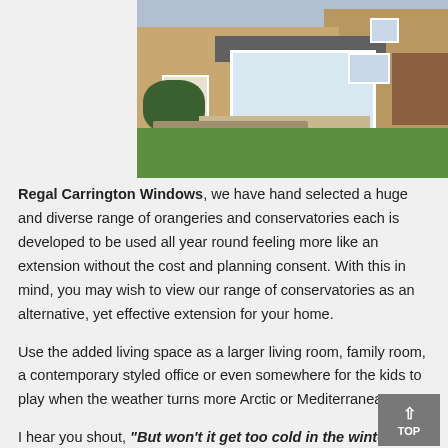[Figure (photo): Exterior photo of a stone house with a white-framed conservatory extension, patio area with stone retaining wall, and lawn garden in the background.]
Regal Carrington Windows, we have hand selected a huge and diverse range of orangeries and conservatories each is developed to be used all year round feeling more like an extension without the cost and planning consent. With this in mind, you may wish to view our range of conservatories as an alternative, yet effective extension for your home.
Use the added living space as a larger living room, family room, a contemporary styled office or even somewhere for the kids to play when the weather turns more Arctic or Mediterranean.
I hear you shout, “But won’t it get too cold in the winter to use our